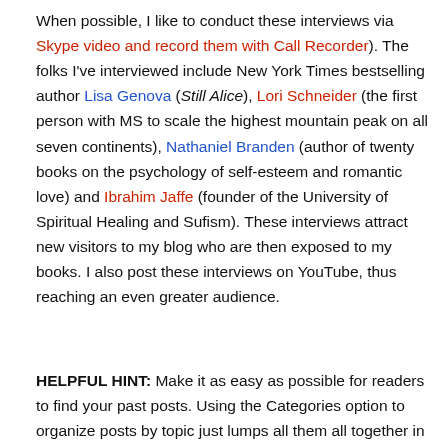When possible, I like to conduct these interviews via Skype video and record them with Call Recorder). The folks I've interviewed include New York Times bestselling author Lisa Genova (Still Alice), Lori Schneider (the first person with MS to scale the highest mountain peak on all seven continents), Nathaniel Branden (author of twenty books on the psychology of self-esteem and romantic love) and Ibrahim Jaffe (founder of the University of Spiritual Healing and Sufism). These interviews attract new visitors to my blog who are then exposed to my books. I also post these interviews on YouTube, thus reaching an even greater audience.
HELPFUL HINT: Make it as easy as possible for readers to find your past posts. Using the Categories option to organize posts by topic just lumps all them all together in a